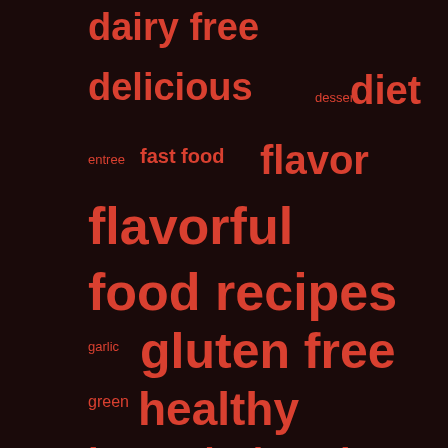[Figure (infographic): Word cloud / tag cloud with food-related keywords in varying font sizes on a dark brown background. Words in coral/red color. Larger words appear more frequently or are more important. Words include: dairy free, delicious, dessert, diet, entree, fast food, flavor, flavorful, food recipes, fruit, garlic, gluten free, green, healthy, low calorie, low fat, lunch, multi-fruit, multi-veggie, nutrition, nutritious, onion, orange, peppers, raw food]